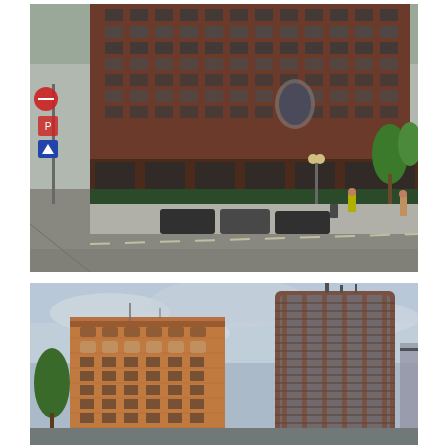[Figure (photo): Street-level photograph of a large multi-story brick mixed-use building on a city corner, with retail at ground level, cars parked along the street, a construction worker in a yellow vest, a pedestrian in a tan coat, street lights, trees with green leaves, and traffic signs on the left including a no-entry/no-parking sign.]
[Figure (photo): Wide-angle photograph showing two historic and modern urban buildings against a cloudy sky: on the left a shorter ornate red-brick building with arched windows and terracotta elements (approx. 8 stories), and on the right a taller cylindrical glass-and-brick modern tower (approx. 20+ stories) under overcast skies, with green tree foliage partially visible on the left edge.]